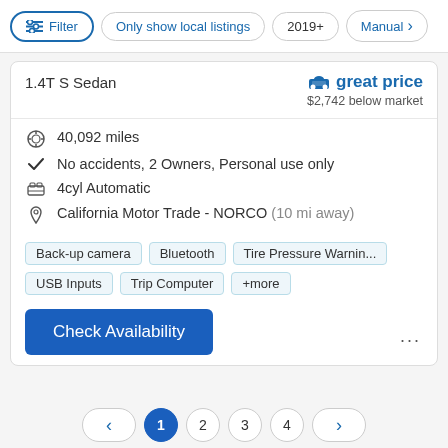Filter | Only show local listings | 2019+ | Manual
1.4T S Sedan
great price
$2,742 below market
40,092 miles
No accidents, 2 Owners, Personal use only
4cyl Automatic
California Motor Trade - NORCO (10 mi away)
Back-up camera | Bluetooth | Tire Pressure Warnin... | USB Inputs | Trip Computer | +more
Check Availability
< 1 2 3 4 >